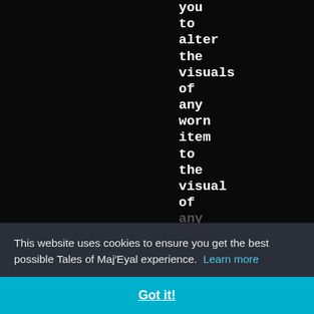you to alter the visuals of any worn item to the visual of any ... trip ... fashion victim
This website uses cookies to ensure you get the best possible Tales of Maj'Eyal experience. Learn more
Got it!